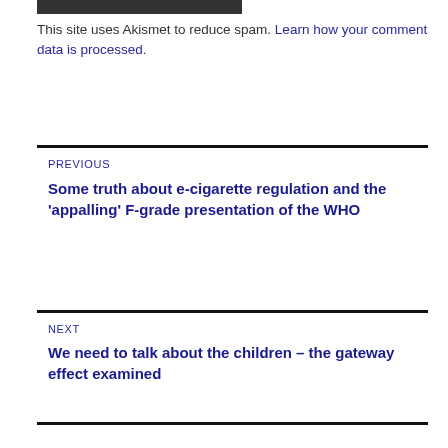[Figure (other): Dark rectangular bar/button element at top of page]
This site uses Akismet to reduce spam. Learn how your comment data is processed.
PREVIOUS
Some truth about e-cigarette regulation and the ‘appalling’ F-grade presentation of the WHO
NEXT
We need to talk about the children – the gateway effect examined